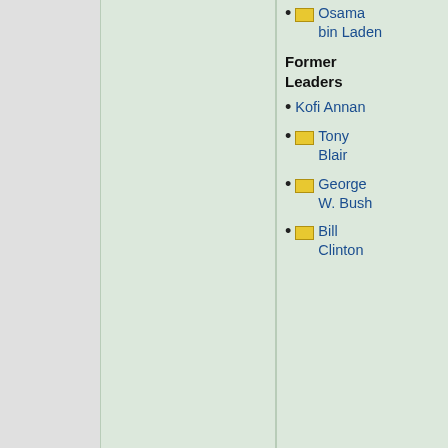Osama bin Laden
Former Leaders
Kofi Annan
Tony Blair
George W. Bush
Bill Clinton
Karl Popper
John Rawls
Jean Jacques Rousseau
Adam Smith
Herbert Spencer
Baruch Spinoza
Alexis de Tocqueville
Max Weber
Categories: Citizendium Workgroups  Pages with too many expensive parser function calls